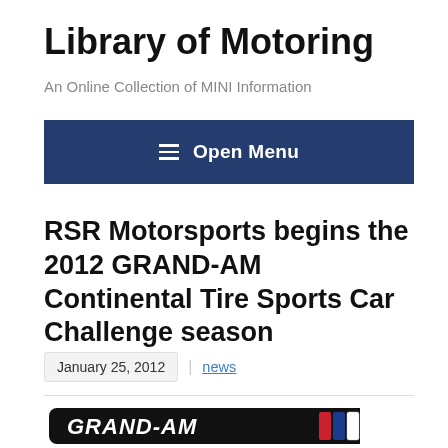Library of Motoring
An Online Collection of MINI Information
≡ Open Menu
RSR Motorsports begins the 2012 GRAND-AM Continental Tire Sports Car Challenge season
January 25, 2012  news
[Figure (logo): GRAND-AM logo partially visible at the bottom of the page]